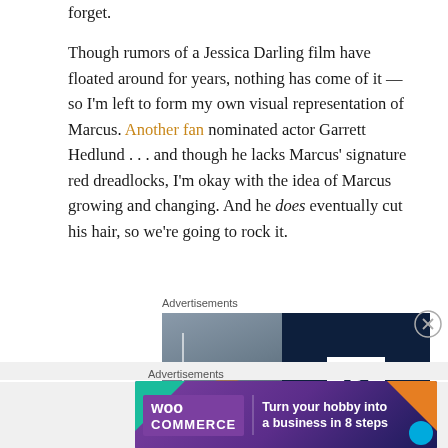forget.
Though rumors of a Jessica Darling film have floated around for years, nothing has come of it — so I'm left to form my own visual representation of Marcus. Another fan nominated actor Garrett Hedlund . . . and though he lacks Marcus' signature red dreadlocks, I'm okay with the idea of Marcus growing and changing. And he does eventually cut his hair, so we're going to rock it.
Advertisements
[Figure (photo): Advertisement banner showing partial face on left panel and Parking 'P' logo on dark navy right panel]
Advertisements
[Figure (infographic): WooCommerce advertisement banner: 'Turn your hobby into a business in 8 steps' on purple/dark blue gradient background with teal and orange decorative shapes]